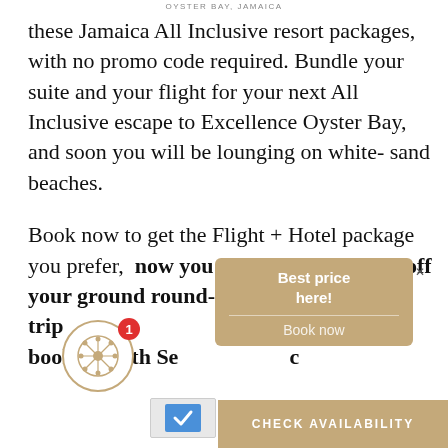OYSTER BAY, JAMAICA
these Jamaica All Inclusive resort packages, with no promo code required. Bundle your suite and your flight for your next All Inclusive escape to Excellence Oyster Bay, and soon you will be lounging on white-sand beaches.
Book now to get the Flight + Hotel package you prefer, now you can also enjoy 25% off your ground round-trip transfer when booking with Seasons Tours
[Figure (screenshot): A popup tooltip with tan/gold background showing 'Best price here!' text, a divider, and 'Book now' button text. Also shows a circular icon with snowflake/flower design and a red badge with number 1.]
To obtain this discount on your ground transfer, please send an email to transfers.jamaica@seasonstours.com requesting a round-trip transfer reservation.
The Seasons Tours team w
[Figure (screenshot): CHECK AVAILABILITY button in gold/tan color at bottom right]